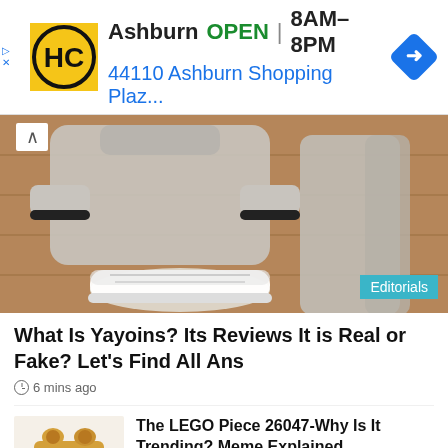[Figure (screenshot): Advertisement banner for Haircut place: HC logo, Ashburn OPEN 8AM-8PM, 44110 Ashburn Shopping Plaz..., navigation icon]
[Figure (photo): Photo of grey sweatpants and sweatshirt outfit laid flat on wooden floor with white sneakers, with 'Editorials' tag overlay]
What Is Yayoins? Its Reviews It is Real or Fake? Let's Find All Ans
6 mins ago
[Figure (photo): Thumbnail of a yellow/tan LEGO piece 26047]
The LEGO Piece 26047-Why Is It Trending? Meme Explained
54 mins ago
[Figure (photo): Thumbnail of Janmashtami 2022 article]
Janmashtami 2022: Puja Vidhi,